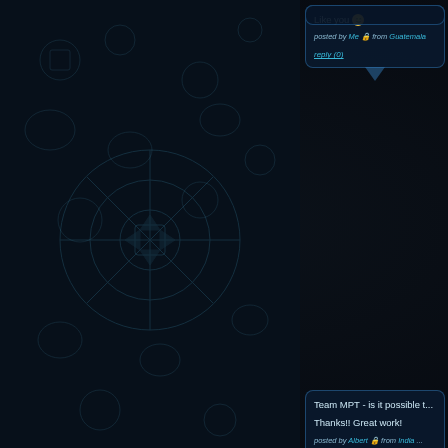[Figure (illustration): Dark background with Mayan/Aztec decorative patterns and symbols in dark teal/grey tones on the left two-thirds of the page]
Like you 😊
posted by Me from Guatemala
reply (0)
Team MPT - is it possible t...
Thanks!! Great work!
posted by Albert from India
reply (0)
Hi MPT...great job on the A... released last week by e? T...
posted by Albert from India
reply (0)